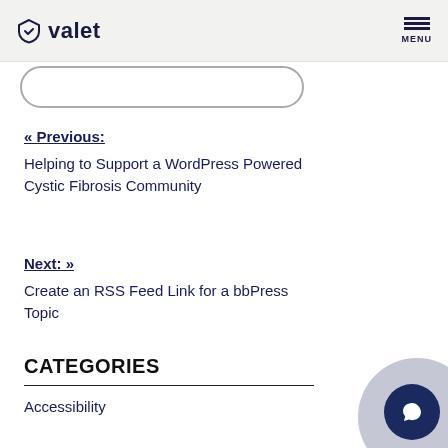valet MENU
« Previous:
Helping to Support a WordPress Powered Cystic Fibrosis Community
Next: »
Create an RSS Feed Link for a bbPress Topic
CATEGORIES
Accessibility